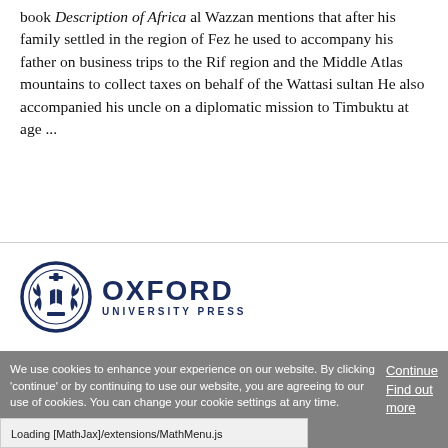book Description of Africa al Wazzan mentions that after his family settled in the region of Fez he used to accompany his father on business trips to the Rif region and the Middle Atlas mountains to collect taxes on behalf of the Wattasi sultan He also accompanied his uncle on a diplomatic mission to Timbuktu at age ...
[Figure (logo): Oxford University Press logo: circular emblem with laurel wreath design in dark navy blue, followed by OXFORD in large bold letters and UNIVERSITY PRESS in smaller spaced letters below]
We use cookies to enhance your experience on our website. By clicking 'continue' or by continuing to use our website, you are agreeing to our use of cookies. You can change your cookie settings at any time.
Continue
Find out more
Loading [MathJax]/extensions/MathMenu.js